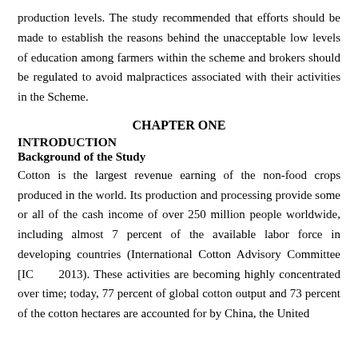production levels. The study recommended that efforts should be made to establish the reasons behind the unacceptable low levels of education among farmers within the scheme and brokers should be regulated to avoid malpractices associated with their activities in the Scheme.
CHAPTER ONE
INTRODUCTION
Background of the Study
Cotton is the largest revenue earning of the non-food crops produced in the world. Its production and processing provide some or all of the cash income of over 250 million people worldwide, including almost 7 percent of the available labor force in developing countries (International Cotton Advisory Committee [IC... 2013). These activities are becoming highly concentrated over time; today, 77 percent of global cotton output and 73 percent of the cotton hectares are accounted for by China, the United